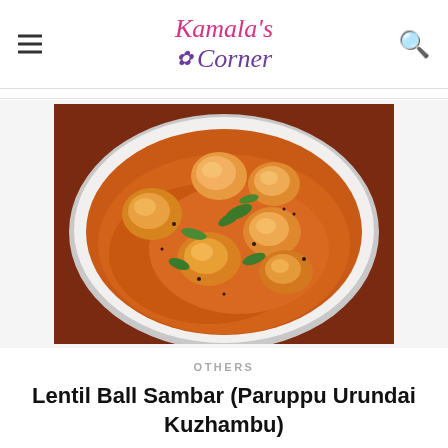Kamala's Corner
[Figure (photo): A white bowl filled with lentil ball sambar (Paruppu Urundai Kuzhambu) — golden-orange curry with round lentil dumplings and curry leaves, on a dark wooden surface.]
OTHERS
Lentil Ball Sambar (Paruppu Urundai Kuzhambu)